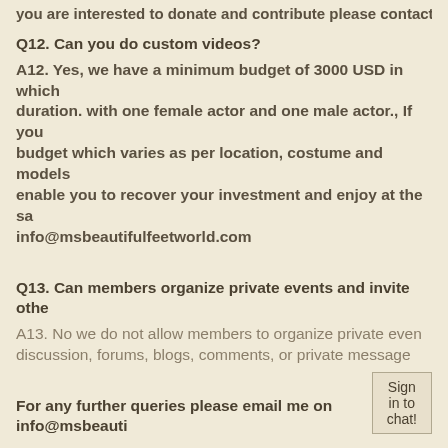you are interested to donate and contribute please contact
Q12. Can you do custom videos?
A12. Yes, we have a minimum budget of 3000 USD in which duration. with one female actor and one male actor., If you budget which varies as per location, costume and models enable you to recover your investment and enjoy at the sa info@msbeautifulfeetworld.com
Q13. Can members organize private events and invite othe
A13. No we do not allow members to organize private even discussion, forums, blogs, comments, or private message
For any further queries please email me on info@msbeauti
Enjoy...